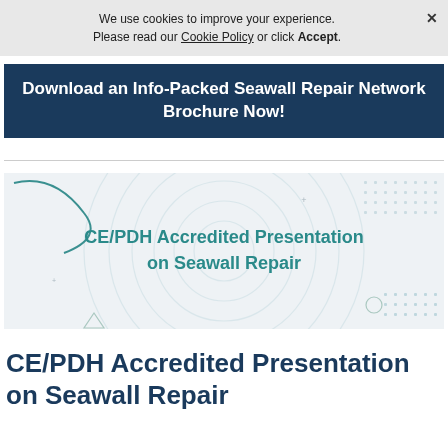We use cookies to improve your experience. Please read our Cookie Policy or click Accept.
[Figure (infographic): Dark blue banner with white bold text: Download an Info-Packed Seawall Repair Network Brochure Now!]
[Figure (illustration): CE/PDH Accredited Presentation on Seawall Repair banner image with circular ripple pattern background, decorative geometric shapes, and teal bold text in center]
CE/PDH Accredited Presentation on Seawall Repair